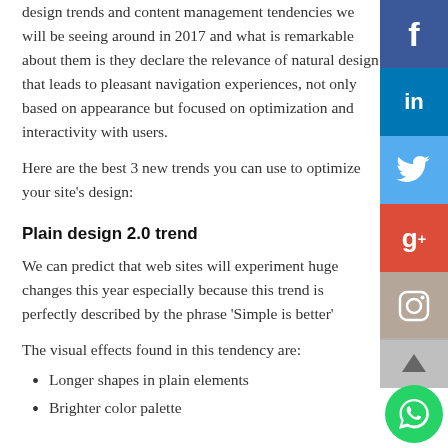design trends and content management tendencies we will be seeing around in 2017 and what is remarkable about them is they declare the relevance of natural design that leads to pleasant navigation experiences, not only based on appearance but focused on optimization and interactivity with users.
Here are the best 3 new trends you can use to optimize your site's design:
Plain design 2.0 trend
We can predict that web sites will experiment huge changes this year especially because this trend is perfectly described by the phrase 'Simple is better'
The visual effects found in this tendency are:
Longer shapes in plain elements
Brighter color palette